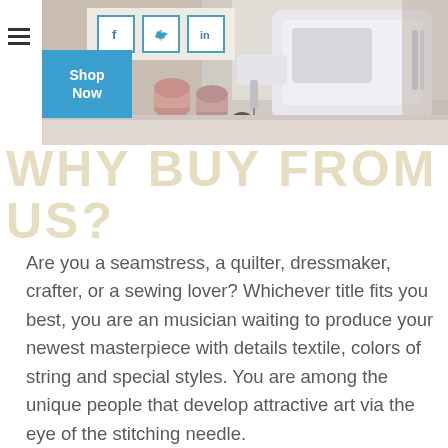[Figure (photo): Sewing machine on a table with thread spools, social media icons (Facebook, Twitter, LinkedIn) overlay at top, and a blue 'Shop Now' button]
Why Buy From Us? (watermark/large background text)
Are you a seamstress, a quilter, dressmaker, crafter, or a sewing lover? Whichever title fits you best, you are an musician waiting to produce your newest masterpiece with details textile, colors of string and special styles. You are among the unique people that develop attractive art via the eye of the stitching needle.